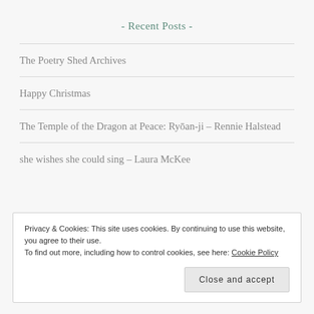- Recent Posts -
The Poetry Shed Archives
Happy Christmas
The Temple of the Dragon at Peace: Ryōan-ji – Rennie Halstead
she wishes she could sing – Laura McKee
Privacy & Cookies: This site uses cookies. By continuing to use this website, you agree to their use.
To find out more, including how to control cookies, see here: Cookie Policy